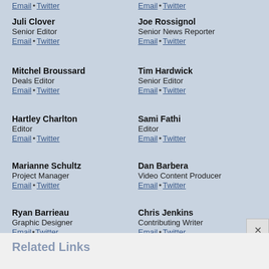Email • Twitter
Email • Twitter
Juli Clover
Senior Editor
Email • Twitter
Joe Rossignol
Senior News Reporter
Email • Twitter
Mitchel Broussard
Deals Editor
Email • Twitter
Tim Hardwick
Senior Editor
Email • Twitter
Hartley Charlton
Editor
Email • Twitter
Sami Fathi
Editor
Email • Twitter
Marianne Schultz
Project Manager
Email • Twitter
Dan Barbera
Video Content Producer
Email • Twitter
Ryan Barrieau
Graphic Designer
Email • Twitter
Chris Jenkins
Contributing Writer
Email • Twitter
Steve Moser
Contributing Writer
Email • Twitter
Frank McShan
Contributing Writer
Email • Twitter
Related Links